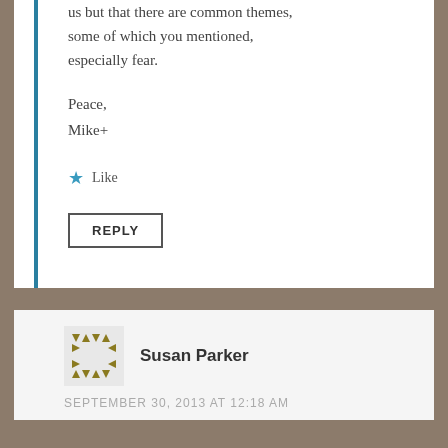us but that there are common themes, some of which you mentioned, especially fear.
Peace,
Mike+
★ Like
REPLY
Susan Parker
SEPTEMBER 30, 2013 AT 12:18 AM